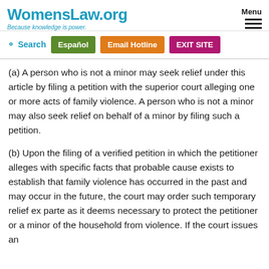WomensLaw.org — Because knowledge is power.
(a) A person who is not a minor may seek relief under this article by filing a petition with the superior court alleging one or more acts of family violence. A person who is not a minor may also seek relief on behalf of a minor by filing such a petition.
(b) Upon the filing of a verified petition in which the petitioner alleges with specific facts that probable cause exists to establish that family violence has occurred in the past and may occur in the future, the court may order such temporary relief ex parte as it deems necessary to protect the petitioner or a minor of the household from violence. If the court issues an